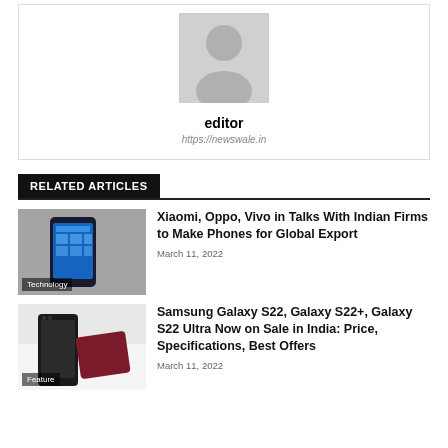[Figure (photo): Default avatar/profile silhouette placeholder image in grey]
editor
https://newswale.in
RELATED ARTICLES
[Figure (photo): Photo of a Xiaomi smartphone with blue display on textured grey background, with Technology tag]
Xiaomi, Oppo, Vivo in Talks With Indian Firms to Make Phones for Global Export
March 11, 2022
[Figure (photo): Photo of Samsung Galaxy S22 series phones on white surface with Feature tag]
Samsung Galaxy S22, Galaxy S22+, Galaxy S22 Ultra Now on Sale in India: Price, Specifications, Best Offers
March 11, 2022